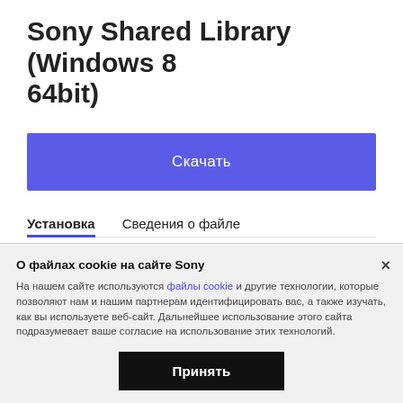Sony Shared Library (Windows 8 64bit)
Скачать
Установка   Сведения о файле
8. At the Finished screen, click Finish .
9. At This system must be restarted to complete the installation , click OK to reboot the system.
The installation of the driver is completed.
О файлах cookie на сайте Sony
На нашем сайте используются файлы cookie и другие технологии, которые позволяют нам и нашим партнерам идентифицировать вас, а также изучать, как вы используете веб-сайт. Дальнейшее использование этого сайта подразумевает ваше согласие на использование этих технологий.
Принять